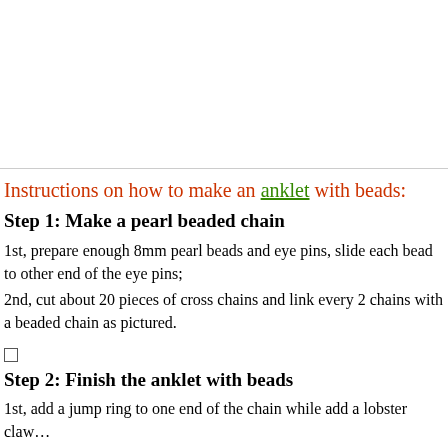[Figure (photo): Image area showing pearl beaded anklet craft photo (cropped/blank in this view)]
Instructions on how to make an anklet with beads:
Step 1: Make a pearl beaded chain
1st, prepare enough 8mm pearl beads and eye pins, slide each bead to other end of the eye pins;
2nd, cut about 20 pieces of cross chains and link every 2 chains with a beaded chain as pictured.
Step 2: Finish the anklet with beads
1st, add a jump ring to one end of the chain while add a lobster claw…